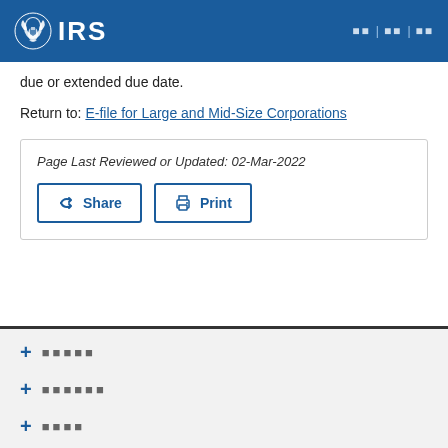IRS
due or extended due date.
Return to: E-file for Large and Mid-Size Corporations
Page Last Reviewed or Updated: 02-Mar-2022
Share  Print
+ [footer item 1]
+ [footer item 2]
+ [footer item 3]